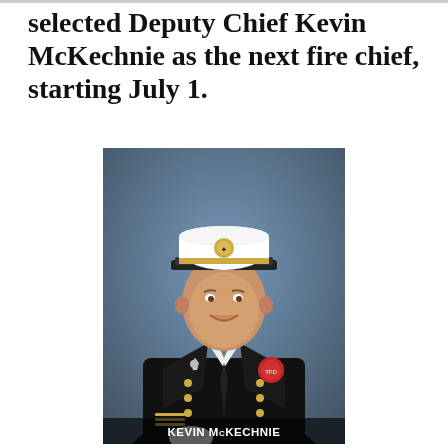selected Deputy Chief Kevin McKechnie as the next fire chief, starting July 1.
[Figure (photo): Official portrait of Kevin McKechnie in a formal black fire chief's uniform with gold badges and insignia, white-topped hat, smiling, against a blue studio background. A name label 'KEVIN McKECHNIE' appears at the bottom of the photo.]
INTERNAL PROMOTION: With Truckee Fire Chief Bill Seline's retirement, which begins July 1, Deputy Chief Kevin